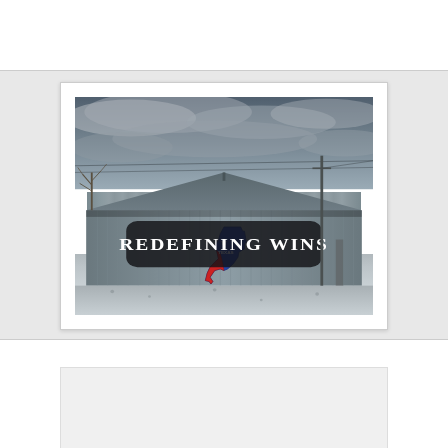[Figure (photo): Photograph of a corrugated metal barn/building with a steep gabled roof under a dramatic overcast sky. A Texas state shape painted in blue and red is visible on the building facade. A dark rounded-rectangle overlay banner in the center of the image reads 'REDEFINING WINS' in bold white serif text. Bare trees are visible on the left, utility poles on the right, and a gravel lot in the foreground.]